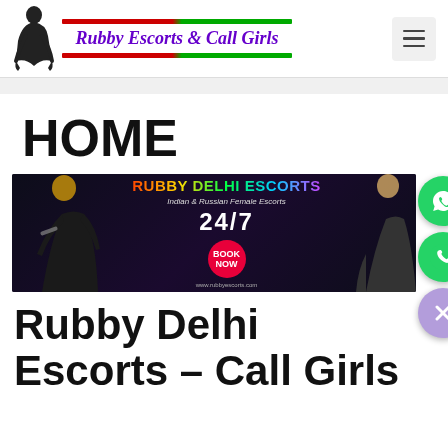Rubby Escorts & Call Girls
HOME
[Figure (infographic): Banner for Rubby Delhi Escorts showing Indian female in black dress, text: RUBBY DELHI ESCORTS, Indian & Russian Female Escorts, 24/7, BOOK NOW, www.rubbyescorts.com]
Rubby Delhi Escorts – Call Girls